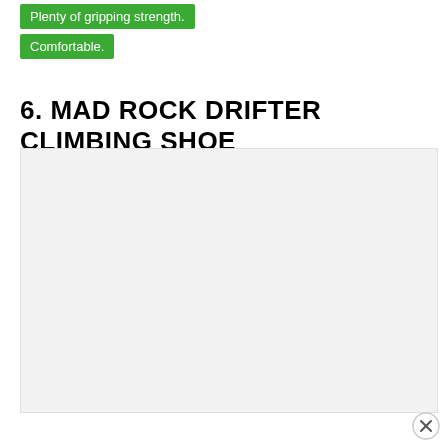Plenty of gripping strength.
Comfortable.
6. MAD ROCK DRIFTER CLIMBING SHOE
[Figure (photo): Photo placeholder of Mad Rock Drifter Climbing Shoe — light grey background rectangle indicating image area]